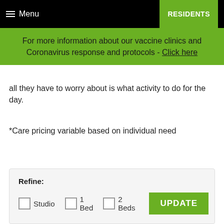Menu | RESIDENTS
For more information about our vaccine clinics and Coronavirus response and protocols - Click here
all they have to worry about is what activity to do for the day.
*Care pricing variable based on individual need
| Refine: | Studio | 1 Bed | 2 Beds | UPDATE |
| --- | --- | --- | --- | --- |